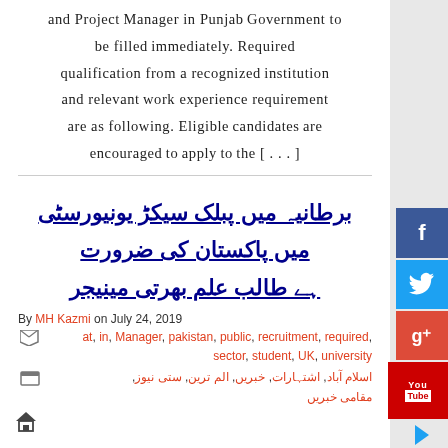and Project Manager in Punjab Government to be filled immediately. Required qualification from a recognized institution and relevant work experience requirement are as following. Eligible candidates are encouraged to apply to the [...]
برطانیہ میں پبلک سیکڑ یونیورسٹی میں پاکستان کی ضرورت ہے طالب علم بھرتی مینیجر
By MH Kazmi on July 24, 2019
at, in, Manager, pakistan, public, recruitment, required, sector, student, UK, university
اسلام آباد, اشتہارات, خبریں, الم ترین, ستی نیوز, مقامی خبریں